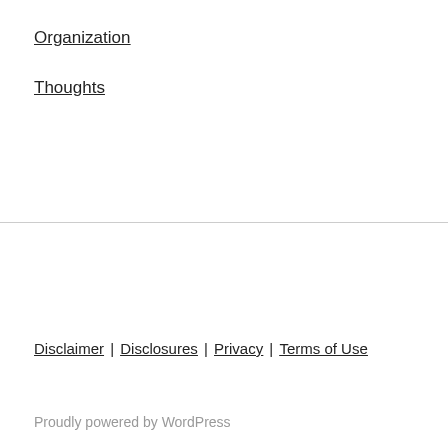Organization
Thoughts
Disclaimer | Disclosures | Privacy | Terms of Use
Proudly powered by WordPress